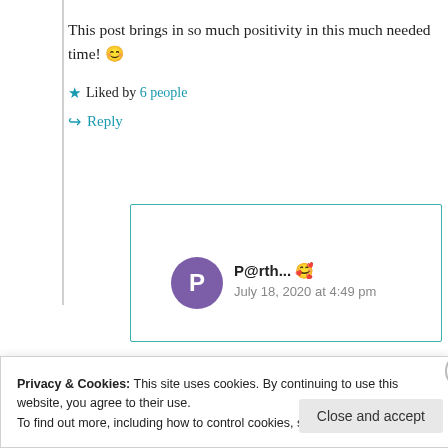This post brings in so much positivity in this much needed time! 😊
★ Liked by 6 people
↪ Reply
P@rth... 🥰
July 18, 2020 at 4:49 pm
Privacy & Cookies: This site uses cookies. By continuing to use this website, you agree to their use.
To find out more, including how to control cookies, see here: Cookie Policy